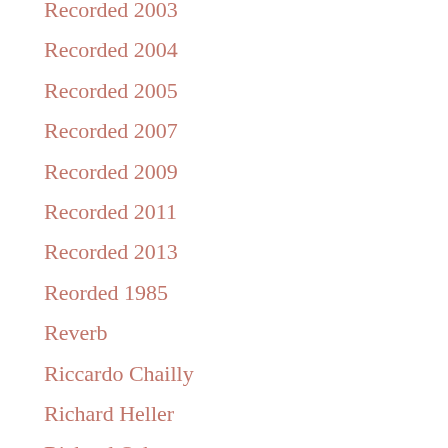Recorded 2003
Recorded 2004
Recorded 2005
Recorded 2007
Recorded 2009
Recorded 2011
Recorded 2013
Reorded 1985
Reverb
Riccardo Chailly
Richard Heller
Richard Osborne
Richard Wagner
Robert Haas
Robert Simpson